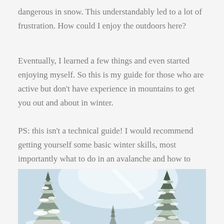dangerous in snow. This understandably led to a lot of frustration. How could I enjoy the outdoors here?
Eventually, I learned a few things and even started enjoying myself. So this is my guide for those who are active but don't have experience in mountains to get you out and about in winter.
PS: this isn't a technical guide! I would recommend getting yourself some basic winter skills, most importantly what to do in an avalanche and how to avoid them.
[Figure (photo): Snow-covered evergreen trees against a bright sky, viewed from below. The trees have heavy snow on their branches. Blue sky visible in the background.]